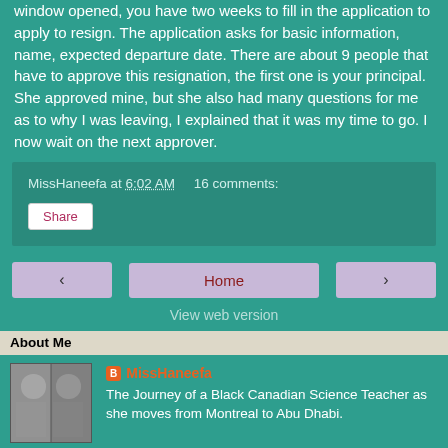window opened, you have two weeks to fill in the application to apply to resign. The application asks for basic information, name, expected departure date. There are about 9 people that have to approve this resignation, the first one is your principal. She approved mine, but she also had many questions for me as to why I was leaving, I explained that it was my time to go. I now wait on the next approver.
MissHaneefa at 6:02 AM    16 comments:
Share
‹
Home
›
View web version
About Me
[Figure (photo): Grayscale profile photo collage of MissHaneefa]
MissHaneefa
The Journey of a Black Canadian Science Teacher as she moves from Montreal to Abu Dhabi.